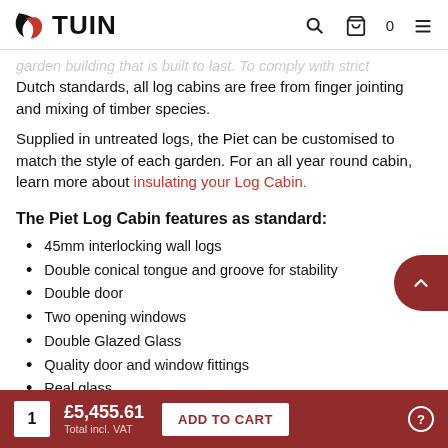TUIN
garden building that is built to last. To comply with strict Dutch standards, all log cabins are free from finger jointing and mixing of timber species.
Supplied in untreated logs, the Piet can be customised to match the style of each garden. For an all year round cabin, learn more about insulating your Log Cabin.
The Piet Log Cabin features as standard:
45mm interlocking wall logs
Double conical tongue and groove for stability
Double door
Two opening windows
Double Glazed Glass
Quality door and window fittings
Real glass
1  £5,455.61  Total incl. VAT  ADD TO CART